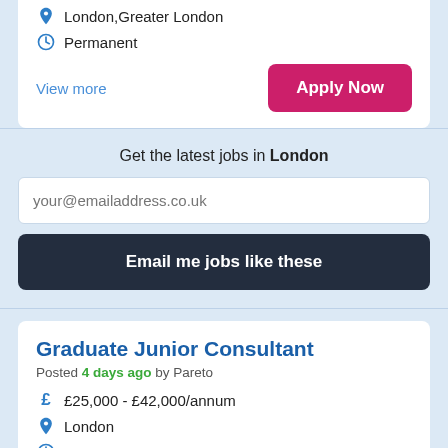London,Greater London
Permanent
View more
Apply Now
Get the latest jobs in London
your@emailaddress.co.uk
Email me jobs like these
Graduate Junior Consultant
Posted 4 days ago by Pareto
£25,000 - £42,000/annum
London
Permanent